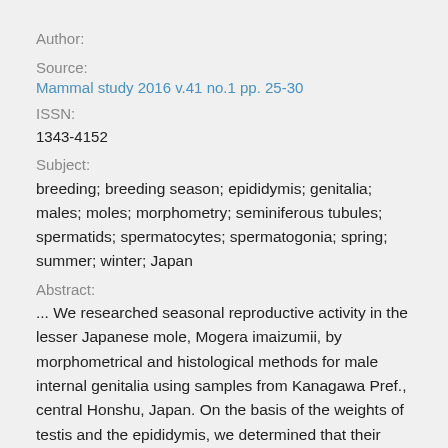Author:
Source:
Mammal study 2016 v.41 no.1 pp. 25-30
ISSN:
1343-4152
Subject:
breeding; breeding season; epididymis; genitalia; males; moles; morphometry; seminiferous tubules; spermatids; spermatocytes; spermatogonia; spring; summer; winter; Japan
Abstract:
... We researched seasonal reproductive activity in the lesser Japanese mole, Mogera imaizumii, by morphometrical and histological methods for male internal genitalia using samples from Kanagawa Pref., central Honshu, Japan. On the basis of the weights of testis and the epididymis, we determined that their weights become higher during February–April. On the other hand, the histological profiles